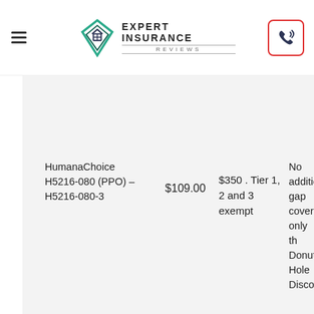[Figure (logo): Expert Insurance Reviews logo with diamond/house icon and text]
| Plan | Premium | Deductible | Gap Coverage |
| --- | --- | --- | --- |
| HumanaChoice H5216-080 (PPO) – H5216-080-3 | $109.00 | $350 . Tier 1, 2 and 3 exempt | No additional gap coverage only the Donut Hole Discount |